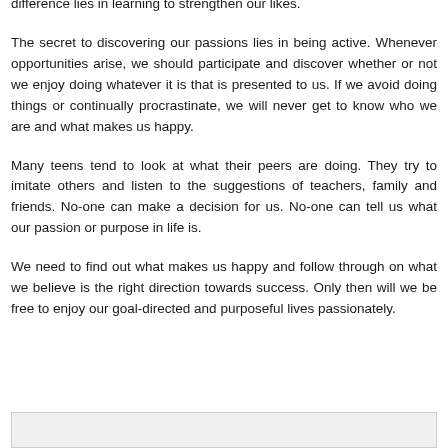difference lies in learning to strengthen our likes.
The secret to discovering our passions lies in being active. Whenever opportunities arise, we should participate and discover whether or not we enjoy doing whatever it is that is presented to us. If we avoid doing things or continually procrastinate, we will never get to know who we are and what makes us happy.
Many teens tend to look at what their peers are doing. They try to imitate others and listen to the suggestions of teachers, family and friends. No-one can make a decision for us. No-one can tell us what our passion or purpose in life is.
We need to find out what makes us happy and follow through on what we believe is the right direction towards success. Only then will we be free to enjoy our goal-directed and purposeful lives passionately.